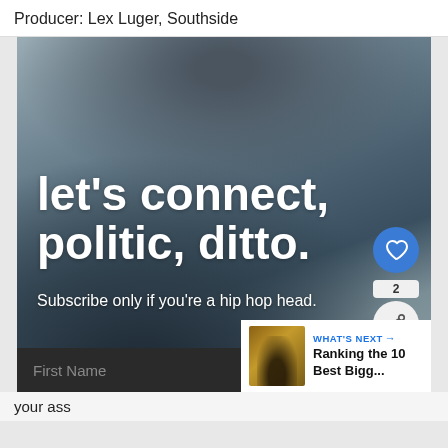Producer: Lex Luger, Southside
[Figure (photo): Grayscale photo of a person wearing a bandana/headwrap, with overlaid text 'let’s connect, politic, ditto.' and 'Subscribe only if you’re a hip hop head.' along with a heart button showing a like icon and a share button showing count 2. Bottom bar shows a 'First Name' input field placeholder and a 'What’s Next' card with thumbnail and text 'Ranking the 10 Best Bigg...']
your ass